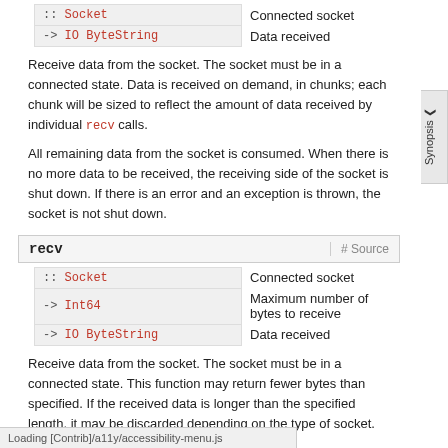| Type | Description |
| --- | --- |
| :: Socket | Connected socket |
| -> IO ByteString | Data received |
Receive data from the socket. The socket must be in a connected state. Data is received on demand, in chunks; each chunk will be sized to reflect the amount of data received by individual recv calls.
All remaining data from the socket is consumed. When there is no more data to be received, the receiving side of the socket is shut down. If there is an error and an exception is thrown, the socket is not shut down.
recv
| Type | Description |
| --- | --- |
| :: Socket | Connected socket |
| -> Int64 | Maximum number of bytes to receive |
| -> IO ByteString | Data received |
Receive data from the socket. The socket must be in a connected state. This function may return fewer bytes than specified. If the received data is longer than the specified length, it may be discarded depending on the type of socket. This ssage arrives.
Loading [Contrib]/a11y/accessibility-menu.js